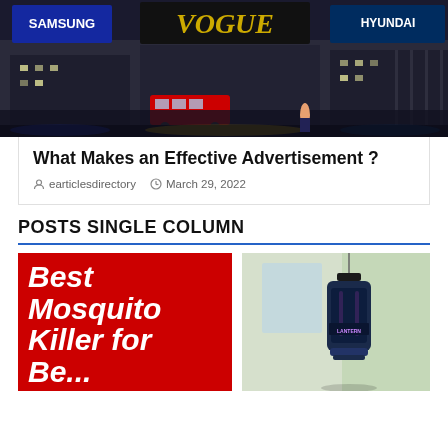[Figure (photo): Photo of Piccadilly Circus London with large LED advertising billboards including Samsung, Vogue, Hyundai brands at night]
What Makes an Effective Advertisement ?
earticlesdirectory   March 29, 2022
POSTS SINGLE COLUMN
[Figure (photo): Red background image with bold white italic text reading 'Best Mosquito Killer for Be...' (partially visible)]
[Figure (photo): Photo of a mosquito killer lamp/zapper device hanging, dark blue device with pink/purple light details against a light green background]